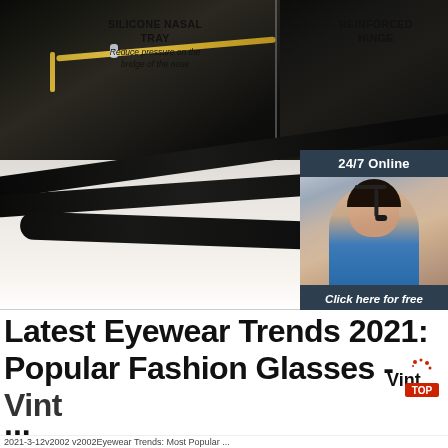[Figure (photo): Close-up product photo of sunglasses showing gold metal frame with silicone nasal tray and reinforced hinge detail, plus a close-up of black temple arm. Overlaid with product feature labels: SILICONE NASAL TRAY, REINFORCED HINGE, Easy op[en], Increase[d comfort]. Right side has a 24/7 online chat widget with a customer service representative photo, 'Click here for free chat!' text, and QUOTATION button.]
Latest Eyewear Trends 2021: Popular Fashion Glasses - Vint ...
2021-3-12v2002 v2002Eyewear Trends: Most Popular ...